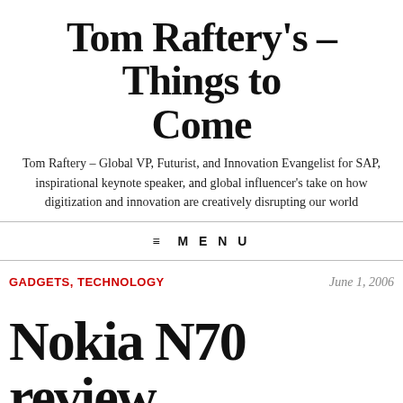Tom Raftery's – Things to Come
Tom Raftery – Global VP, Futurist, and Innovation Evangelist for SAP, inspirational keynote speaker, and global influencer's take on how digitization and innovation are creatively disrupting our world
≡ MENU
GADGETS, TECHNOLOGY    June 1, 2006
Nokia N70 review